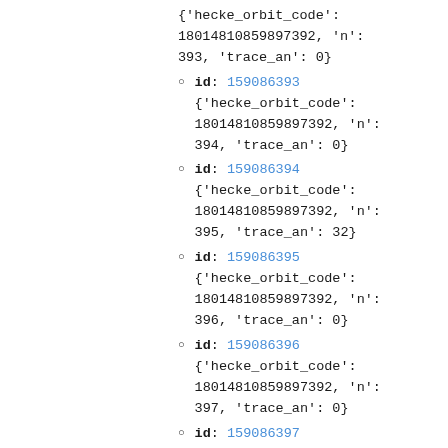{'hecke_orbit_code': 18014810859897392, 'n': 393, 'trace_an': 0}
id: 159086393
{'hecke_orbit_code': 18014810859897392, 'n': 394, 'trace_an': 0}
id: 159086394
{'hecke_orbit_code': 18014810859897392, 'n': 395, 'trace_an': 32}
id: 159086395
{'hecke_orbit_code': 18014810859897392, 'n': 396, 'trace_an': 0}
id: 159086396
{'hecke_orbit_code': 18014810859897392, 'n': 397, 'trace_an': 0}
id: 159086397